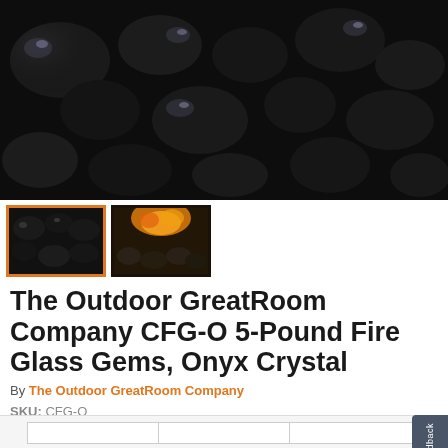[Figure (photo): Close-up photo of shiny black glass gems/stones (fire glass) on a dark background]
[Figure (photo): Thumbnail 1: dark granular black fire glass material]
[Figure (photo): Thumbnail 2: fire glass with orange flames visible]
The Outdoor GreatRoom Company CFG-O 5-Pound Fire Glass Gems, Onyx Crystal
By The Outdoor GreatRoom Company
SKU: CFG-O
Was: $57.00
$45.00
|  |  |  |